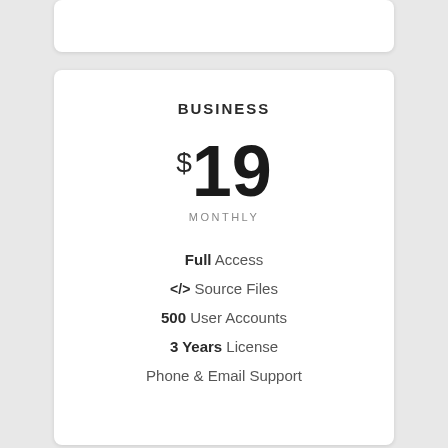BUSINESS
$19
MONTHLY
Full Access
</> Source Files
500 User Accounts
3 Years License
Phone & Email Support